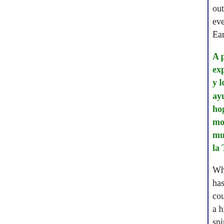out of Tibet into India, it then spread to every country in the world. Earth's Kundalini, the ne…
A partir del capítulo cua… experiencia personal y … y los cientos de tribus i… ayudado a guiar esta en… hogar en Sud America. … moviendo como una se… mundo hasta que llegó … la Tierra, el nuevo "Tibe…
What has occurred in the… has taken is almost unbe… countries all cooperating … a higher power simply fo… spiritual assistance, I bel… next level of consciousne…
Lo que ha ocurrido en el … de la Tierra ha tomado … culturas y paises todos … coordinados por un po… vida humana. Y sin esta… be… sido de… ó…